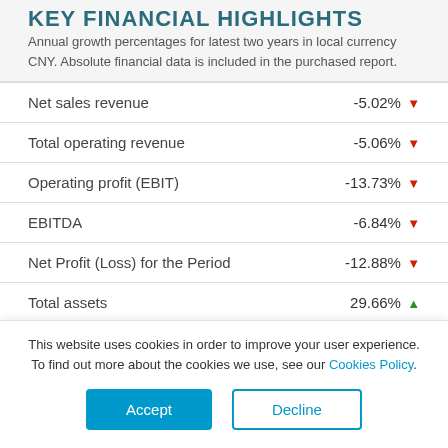KEY FINANCIAL HIGHLIGHTS
Annual growth percentages for latest two years in local currency CNY. Absolute financial data is included in the purchased report.
| Metric | Value |
| --- | --- |
| Net sales revenue | -5.02% ▼ |
| Total operating revenue | -5.06% ▼ |
| Operating profit (EBIT) | -13.73% ▼ |
| EBITDA | -6.84% ▼ |
| Net Profit (Loss) for the Period | -12.88% ▼ |
| Total assets | 29.66% ▲ |
This website uses cookies in order to improve your user experience. To find out more about the cookies we use, see our Cookies Policy.